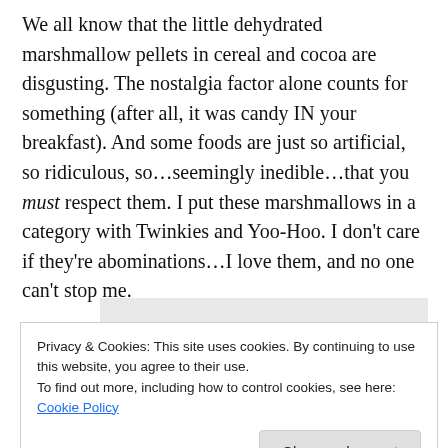We all know that the little dehydrated marshmallow pellets in cereal and cocoa are disgusting. The nostalgia factor alone counts for something (after all, it was candy IN your breakfast). And some foods are just so artificial, so ridiculous, so…seemingly inedible…that you must respect them. I put these marshmallows in a category with Twinkies and Yoo-Hoo. I don't care if they're abominations…I love them, and no one can't stop me.
[Figure (photo): Partial view of a webpage showing four circular avatar images (profile photos) on a grey background, partially obscured by a cookie consent banner below.]
Privacy & Cookies: This site uses cookies. By continuing to use this website, you agree to their use.
To find out more, including how to control cookies, see here: Cookie Policy